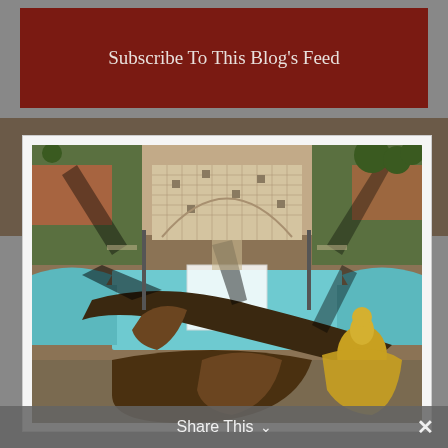Subscribe To This Blog's Feed
[Figure (photo): Aerial drone photograph looking down at a monument/fountain plaza with a large bronze and gold sculpture in the foreground, a tiled courtyard behind it, surrounding grass areas, trees, and turquoise water features on either side. A small white canopy structure is visible near the center.]
Share This ∨